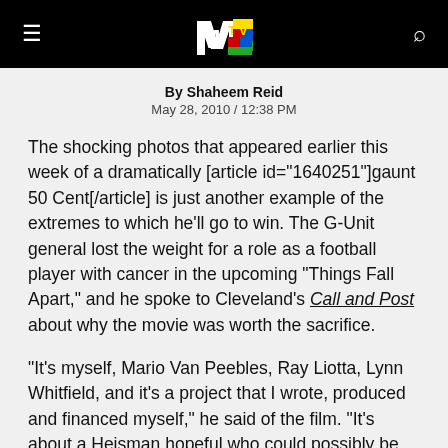MTV (navigation bar with logo, hamburger menu, and search icon)
By Shaheem Reid
May 28, 2010 / 12:38 PM
The shocking photos that appeared earlier this week of a dramatically [article id="1640251"]gaunt 50 Cent[/article] is just another example of the extremes to which he'll go to win. The G-Unit general lost the weight for a role as a football player with cancer in the upcoming "Things Fall Apart," and he spoke to Cleveland's Call and Post about why the movie was worth the sacrifice.
"It's myself, Mario Van Peebles, Ray Liotta, Lynn Whitfield, and it's a project that I wrote, produced and financed myself," he said of the film. "It's about a Heisman hopeful who could possibly be going to the